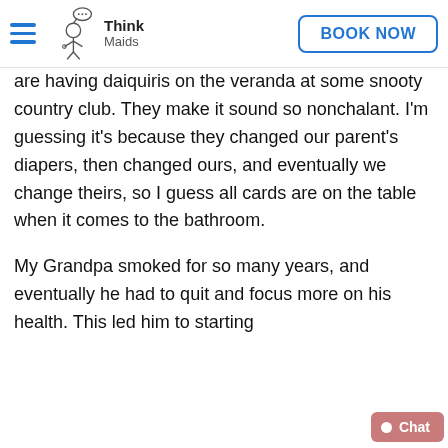Think Maids | BOOK NOW
are having daiquiris on the veranda at some snooty country club. They make it sound so nonchalant. I'm guessing it's because they changed our parent's diapers, then changed ours, and eventually we change theirs, so I guess all cards are on the table when it comes to the bathroom.

My Grandpa smoked for so many years, and eventually he had to quit and focus more on his health. This led him to starting